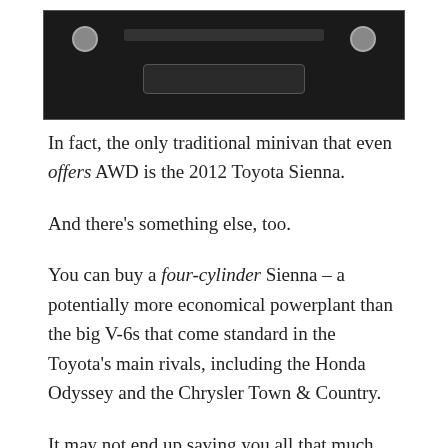[Figure (photo): Front view of a dark/black minivan (Toyota Sienna) showing the grille, headlights, and front bumper against a light background.]
In fact, the only traditional minivan that even offers AWD is the 2012 Toyota Sienna.
And there's something else, too.
You can buy a four-cylinder Sienna – a potentially more economical powerplant than the big V-6s that come standard in the Toyota's main rivals, including the Honda Odyssey and the Chrysler Town & Country.
It may not end up saving you all that much gas –